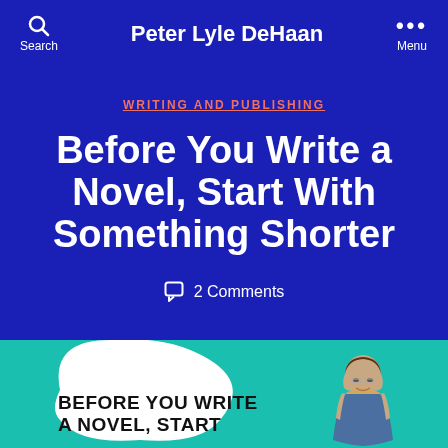Peter Lyle DeHaan
WRITING AND PUBLISHING
Before You Write a Novel, Start With Something Shorter
2 Comments
[Figure (illustration): Book cover illustration showing a woman with glasses on a teal background with a white blob shape containing the text 'BEFORE YOU WRITE A NOVEL, START']